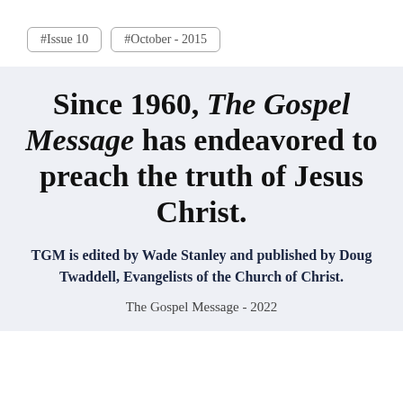#Issue 10   #October - 2015
Since 1960, The Gospel Message has endeavored to preach the truth of Jesus Christ.
TGM is edited by Wade Stanley and published by Doug Twaddell, Evangelists of the Church of Christ.
The Gospel Message - 2022